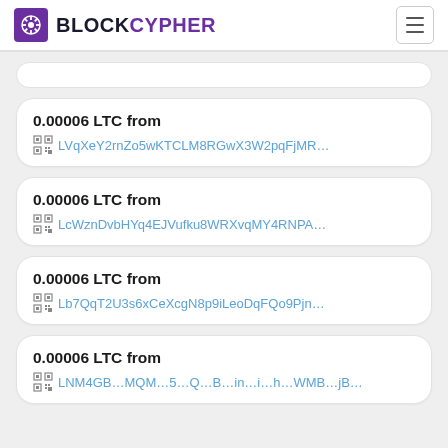BLOCKCYPHER
0.00006 LTC from LVqXeY2rnZo5wKTCLM8RGwX3W2pqFjMR...
0.00006 LTC from LcWznDvbHYq4EJVufku8WRXvqMY4RNPA...
0.00006 LTC from Lb7QqT2U3s6xCeXcgN8p9iLeoDqFQo9Pjn...
0.00006 LTC from LNM4GB...MQM...5...Q...B...in...i...h...WMB...jB...